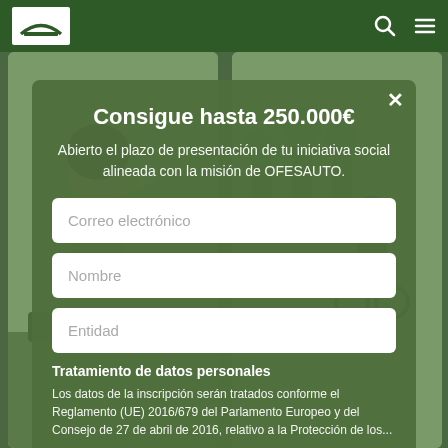OFESAUTO website navigation bar with logo and icons
Consigue hasta 250.000€
Abierto el plazo de presentación de tu iniciativa social alineada con la misión de OFESAUTO.
Correo electrónico
Nombre
Entidad
Tratamiento de datos personales
Los datos de la inscripción serán tratados conforme el Reglamento (UE) 2016/679 del Parlamento Europeo y del Consejo de 27 de abril de 2016, relativo a la Protección de los...